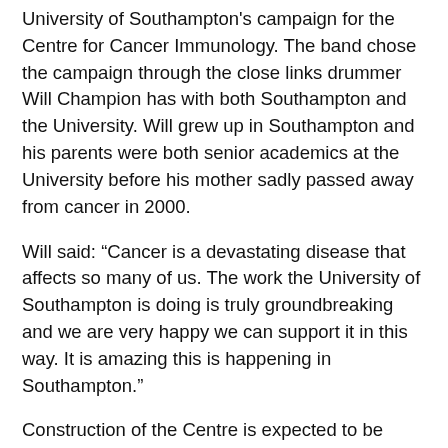University of Southampton's campaign for the Centre for Cancer Immunology. The band chose the campaign through the close links drummer Will Champion has with both Southampton and the University. Will grew up in Southampton and his parents were both senior academics at the University before his mother sadly passed away from cancer in 2000.
Will said: “Cancer is a devastating disease that affects so many of us. The work the University of Southampton is doing is truly groundbreaking and we are very happy we can support it in this way. It is amazing this is happening in Southampton.”
Construction of the Centre is expected to be completed this autumn, with an official opening planned for spring/summer 2018. It will be the UK’s first and only centre dedicated to cancer immunology research and will bring world-leading cancer scientists together under one roof, enabling interdisciplinary teams to expand clinical trials and develop lifesaving drugs. By the time it is fully operational, it is expected to double the number of patients on clinical trials.
The Centre, which is based at University Hospital...